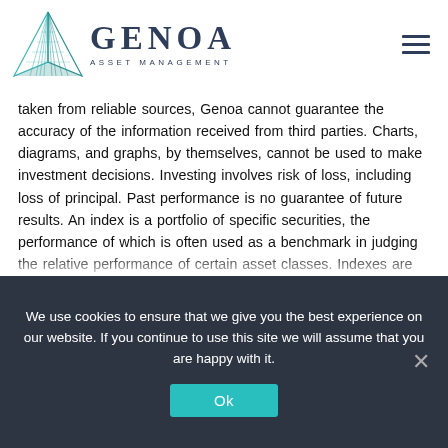[Figure (logo): Genoa Asset Management logo with teal geometric sail/triangle graphic and company name in dark navy serif font]
taken from reliable sources, Genoa cannot guarantee the accuracy of the information received from third parties. Charts, diagrams, and graphs, by themselves, cannot be used to make investment decisions. Investing involves risk of loss, including loss of principal. Past performance is no guarantee of future results. An index is a portfolio of specific securities, the performance of which is often used as a benchmark in judging the relative performance of certain asset classes. Indexes are unmanaged portfolios and investors cannot invest directly in an index. An index does not charge management fees or brokerage
We use cookies to ensure that we give you the best experience on our website. If you continue to use this site we will assume that you are happy with it.